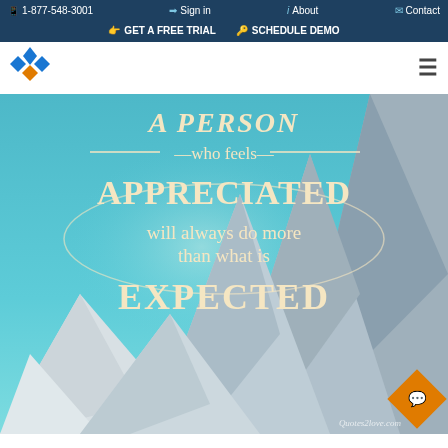1-877-548-3001 | Sign in | About | Contact | GET A FREE TRIAL | SCHEDULE DEMO
[Figure (logo): Diamond/cross logo made of blue and orange diamond shapes]
[Figure (infographic): Motivational quote infographic over teal background with mountain silhouettes: 'A PERSON who feels APPRECIATED will always do more than what is EXPECTED' with watermark Quotes2love.com]